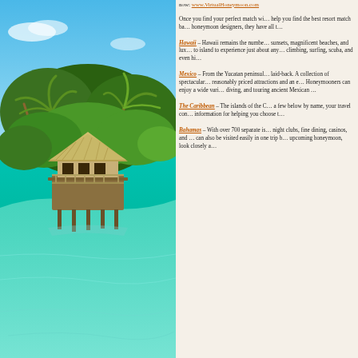[Figure (photo): Tropical overwater bungalow with thatched roof surrounded by palm trees and turquoise clear water, a honeymoon destination]
now: www.VirtualHoneymoon.com
Once you find your perfect match wi... help you find the best resort match ba... honeymoon designers, they have all t...
Hawaii – Hawaii remains the numbe... sunsets, magnificent beaches, and lux... to island to experience just about any... climbing, surfing, scuba, and even hi...
Mexico – From the Yucatan peninsul... laid-back. A collection of spectacular... reasonably priced attractions and an e... Honeymooners can enjoy a wide vari... diving, and touring ancient Mexican ...
The Caribbean – The islands of the C... a few below by name, your travel con... information for helping you choose t...
Bahamas – With over 700 separate is... night clubs, fine dining, casinos, and ... can also be visited easily in one trip b... upcoming honeymoon, look closely a...